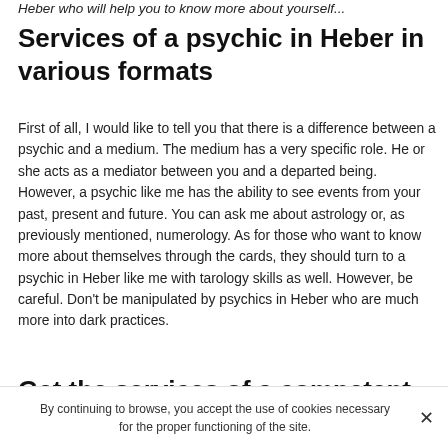Heber who will help you to know more about yourself...
Services of a psychic in Heber in various formats
First of all, I would like to tell you that there is a difference between a psychic and a medium. The medium has a very specific role. He or she acts as a mediator between you and a departed being. However, a psychic like me has the ability to see events from your past, present and future. You can ask me about astrology or, as previously mentioned, numerology. As for those who want to know more about themselves through the cards, they should turn to a psychic in Heber like me with tarology skills as well. However, be careful. Don't be manipulated by psychics in Heber who are much more into dark practices.
Get the services of a competent psychic
By continuing to browse, you accept the use of cookies necessary for the proper functioning of the site.